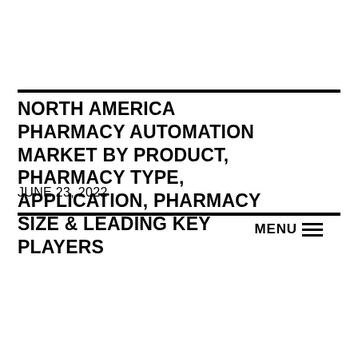NORTH AMERICA PHARMACY AUTOMATION MARKET BY PRODUCT, PHARMACY TYPE, APPLICATION, PHARMACY SIZE & LEADING KEY PLAYERS
JUNE 23, 2022